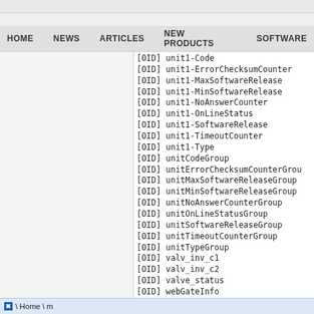HOME   NEWS   ARTICLES   NEW PRODUCTS   SOFTWARE
[OID] unit1-Code
[OID] unit1-ErrorChecksumCounter
[OID] unit1-MaxSoftwareRelease
[OID] unit1-MinSoftwareRelease
[OID] unit1-NoAnswerCounter
[OID] unit1-OnLineStatus
[OID] unit1-SoftwareRelease
[OID] unit1-TimeoutCounter
[OID] unit1-Type
[OID] unitCodeGroup
[OID] unitErrorChecksumCounterGrou
[OID] unitMaxSoftwareReleaseGroup
[OID] unitMinSoftwareReleaseGroup
[OID] unitNoAnswerCounterGroup
[OID] unitOnLineStatusGroup
[OID] unitSoftwareReleaseGroup
[OID] unitTimeoutCounterGroup
[OID] unitTypeGroup
[OID] valv_inv_c1
[OID] valv_inv_c2
[OID] valve_status
[OID] webGateInfo
[OID] .1.3.6.1.4.1.9839
[OID] .1.3.6.1.4.1.9839.1
[OID] .1.3.6.1.4.1.9839.1.1
[OID] .1.3.6.1.4.1.9839.1.2
\ Home \ m